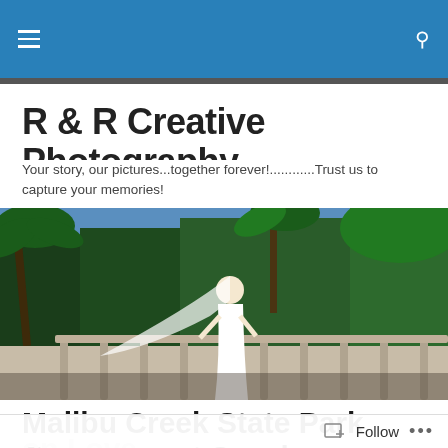Navigation bar with hamburger menu and search icon
R & R Creative Photography
Your story, our pictures...together forever!............Trust us to capture your memories!
[Figure (photo): Wedding photo: a bride in a white dress and long veil standing on a balustrade terrace overlooking the ocean, surrounded by palm trees and lush green foliage.]
Malibu Creek State Park Engagement Session Focuses on Love